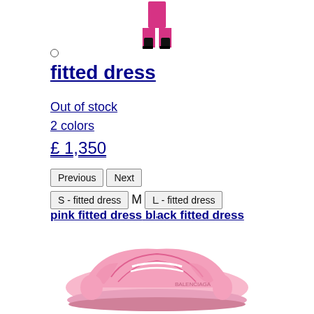[Figure (photo): Partial image of a pink fitted dress with black boots, cropped at top of page]
○ (small circle indicator)
fitted dress
Out of stock
2 colors
£ 1,350
Previous | Next | S - fitted dress | M | L - fitted dress
pink fitted dress black fitted dress
[Figure (photo): Pink sneaker/trainer shoe]